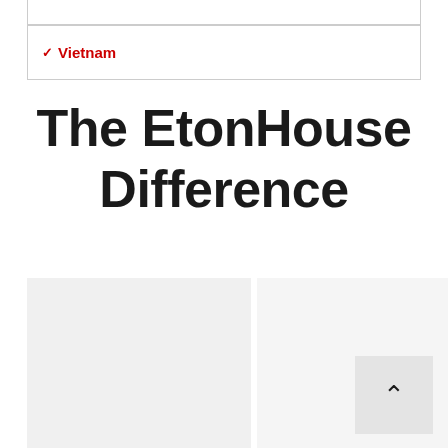Vietnam
The EtonHouse Difference
[Figure (other): Two image panels side by side below the title, partially visible, with a scroll-to-top button visible in the lower right area]